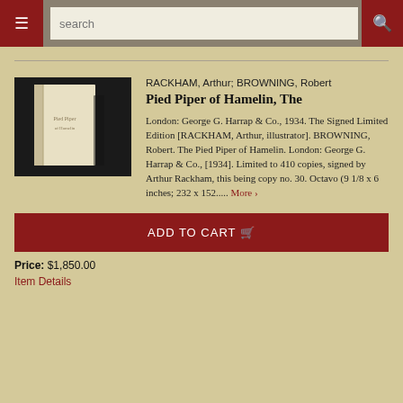☰  search  🔍
[Figure (photo): Photo of a book with cream/white cover on dark background, spine visible]
RACKHAM, Arthur; BROWNING, Robert
Pied Piper of Hamelin, The
London: George G. Harrap & Co., 1934. The Signed Limited Edition [RACKHAM, Arthur, illustrator]. BROWNING, Robert. The Pied Piper of Hamelin. London: George G. Harrap & Co., [1934]. Limited to 410 copies, signed by Arthur Rackham, this being copy no. 30. Octavo (9 1/8 x 6 inches; 232 x 152..... More ›
ADD TO CART 🛒
Price: $1,850.00
Item Details